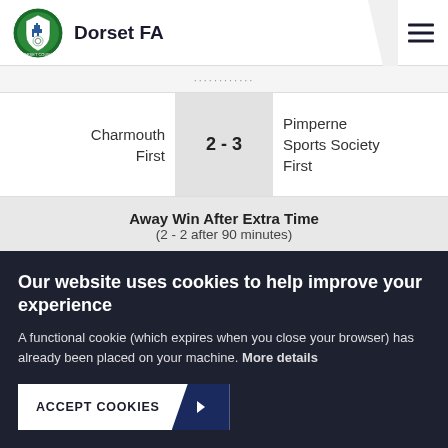Dorset FA
Charmouth First  2 - 3  Pimperne Sports Society First
Away Win After Extra Time (2 - 2 after 90 minutes)
10.
Our website uses cookies to help improve your experience
A functional cookie (which expires when you close your browser) has already been placed on your machine. More details
ACCEPT COOKIES